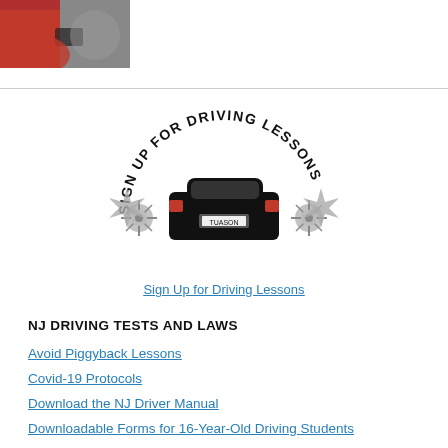[Figure (photo): Partial photo of a person holding a smartphone, wearing a red jacket, cropped at top-left corner of page]
[Figure (logo): Circular logo reading 'SIGN UP FOR DRIVING LESSONS' in arched text above a black illustrated car (rear view) with decorative burst/star effects on the sides, in black and grey]
Sign Up for Driving Lessons
NJ DRIVING TESTS AND LAWS
Avoid Piggyback Lessons
Covid-19 Protocols
Download the NJ Driver Manual
Downloadable Forms for 16-Year-Old Driving Students
NJ Sample Knowledge Test